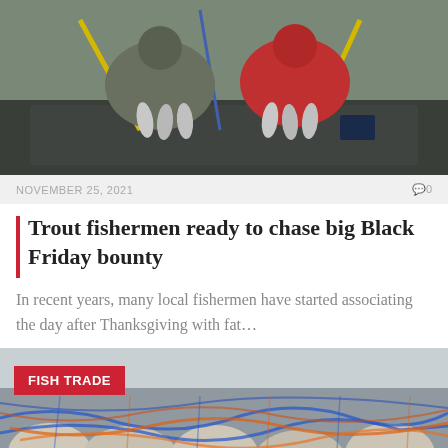[Figure (photo): Two fishermen sitting in a boat holding up multiple fish (trout) they caught, with yellow and blue fishing rods visible]
NOVEMBER 25, 2021
0
Trout fishermen ready to chase big Black Friday bounty
In recent years, many local fishermen have started associating the day after Thanksgiving with fat...
[Figure (photo): Close-up of blue and orange fishing nets with floats/stones, with a red FISH TRADE badge in the top left corner]